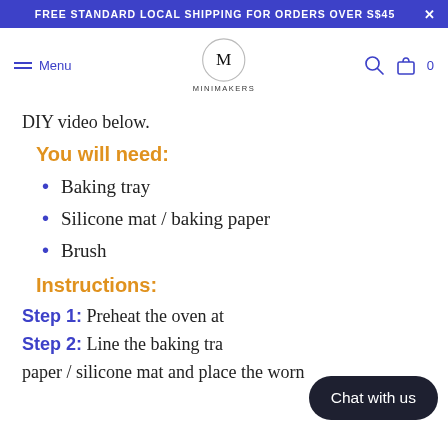FREE STANDARD LOCAL SHIPPING FOR ORDERS OVER S$45  X
Menu  MINIMAKERS  0
DIY video below.
You will need:
Baking tray
Silicone mat / baking paper
Brush
Instructions:
Step 1: Preheat the oven at
Step 2: Line the baking tra paper / silicone mat and place the worn